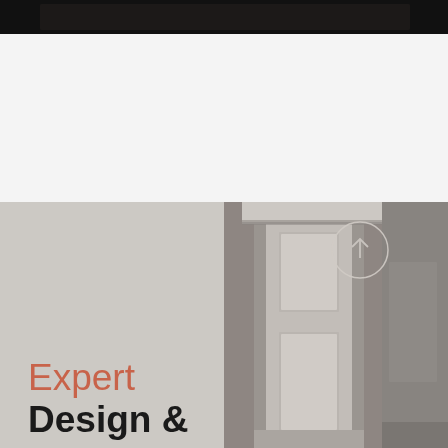[Figure (photo): Dark/black banner image at top of page, appears to be a dark room or surface]
[Figure (photo): Interior design scene showing a white door frame/molding with paneling detail against a warm grey wall. Right half of lower section. A circular arrow/upload icon overlay is visible on the right side.]
Expert Design &